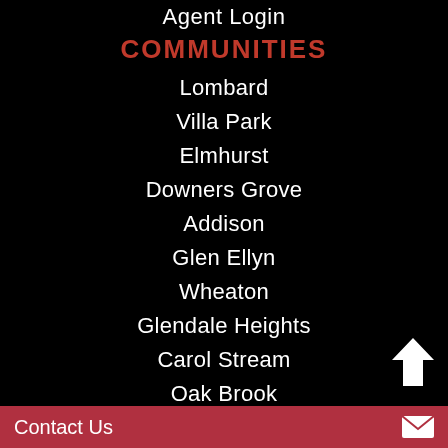Agent Login
COMMUNITIES
Lombard
Villa Park
Elmhurst
Downers Grove
Addison
Glen Ellyn
Wheaton
Glendale Heights
Carol Stream
Oak Brook
Oakbrook Terrace
Contact Us